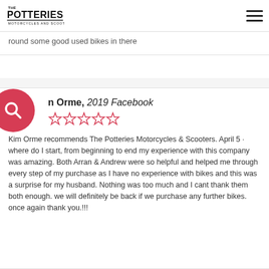The Potteries Motorcycles and Scooters
round some good used bikes in there
n Orme, 2019 Facebook
★★★★★
Kim Orme recommends The Potteries Motorcycles & Scooters. April 5 · where do I start, from beginning to end my experience with this company was amazing. Both Arran & Andrew were so helpful and helped me through every step of my purchase as I have no experience with bikes and this was a surprise for my husband. Nothing was too much and I cant thank them both enough. we will definitely be back if we purchase any further bikes. once again thank you.!!!